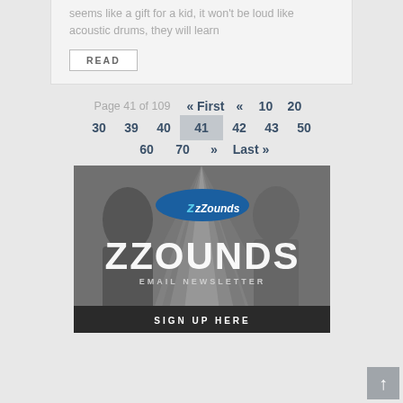seems like a gift for a kid, it won't be loud like acoustic drums, they will learn
READ
Page 41 of 109  « First  «  10  20  30  39  40  41  42  43  50  60  70  »  Last »
[Figure (illustration): zZounds email newsletter banner with musicians playing in background, featuring the zZounds logo, large ZZOUNDS text, EMAIL NEWSLETTER subtitle, and SIGN UP HERE button at the bottom]